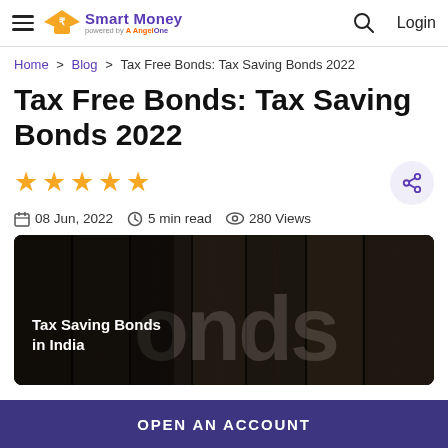Smart Money powered by AngelOne — Search — Login
Home > Blog > Tax Free Bonds: Tax Saving Bonds 2022
Tax Free Bonds: Tax Saving Bonds 2022
★★★★★ (5 stars, unrated)
08 Jun, 2022  |  5 min read  |  280 Views
[Figure (photo): Black and white photo of wooden planks with large 3D letters spelling 'Bonds'. Overlay text reads 'Tax Saving Bonds in India'.]
OPEN AN ACCOUNT